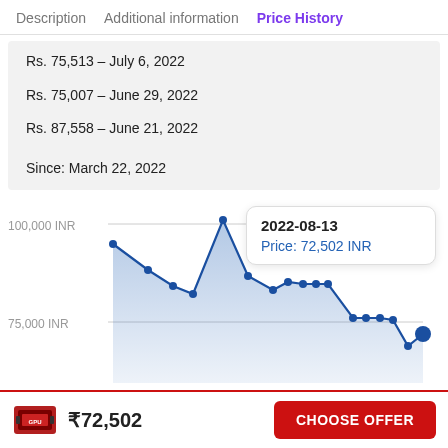Description   Additional information   Price History
Rs. 75,513 – July 6, 2022
Rs. 75,007 – June 29, 2022
Rs. 87,558 – June 21, 2022
Since: March 22, 2022
[Figure (area-chart): Line/area chart showing price history in INR from March 2022 to August 2022, with tooltip showing 2022-08-13 Price: 72,502 INR]
₹72,502
CHOOSE OFFER